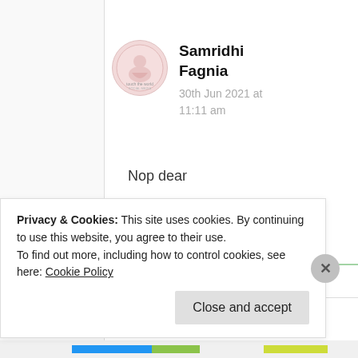Samridhi Fagnia
30th Jun 2021 at 11:11 am
Nop dear
★ Liked by 1 person
Privacy & Cookies: This site uses cookies. By continuing to use this website, you agree to their use.
To find out more, including how to control cookies, see here: Cookie Policy
Close and accept